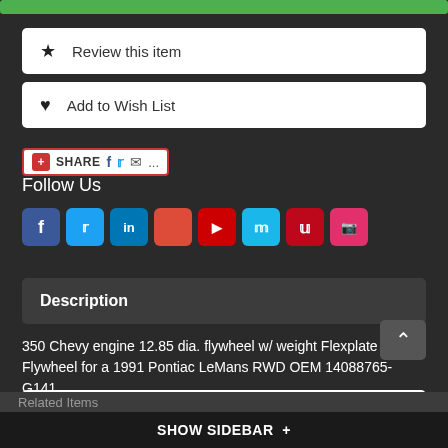[Figure (other): Green button bar at top]
★ Review this item
♥ Add to Wish List
SHARE [Facebook] [Twitter] [Email] [...] Follow Us
[Figure (other): Social media icons: Facebook, Twitter, LinkedIn, Google+, YouTube, Vimeo, Pinterest, Instagram]
Description
350 Chevy engine 12.85 dia. flywheel w/ weight Flexplate Flywheel for a 1991 Pontiac LeMans RWD OEM 14088765-G141
–-> Product Reviews from Verified Buyers <---
SHOW SIDEBAR +
Related Items